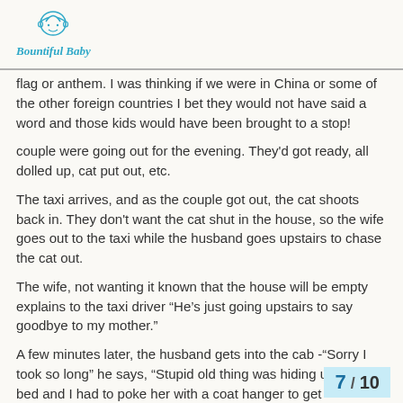Bountiful Baby
flag or anthem. I was thinking if we were in China or some of the other foreign countries I bet they would not have said a word and those kids would have been brought to a stop!
couple were going out for the evening. They'd got ready, all dolled up, cat put out, etc.
The taxi arrives, and as the couple got out, the cat shoots back in. They don't want the cat shut in the house, so the wife goes out to the taxi while the husband goes upstairs to chase the cat out.
The wife, not wanting it known that the house will be empty explains to the taxi driver “He’s just going upstairs to say goodbye to my mother.”
A few minutes later, the husband gets into the cab -“Sorry I took so long” he says, “Stupid old thing was hiding under the bed and I had to poke her with a coat hanger to get
7 / 10